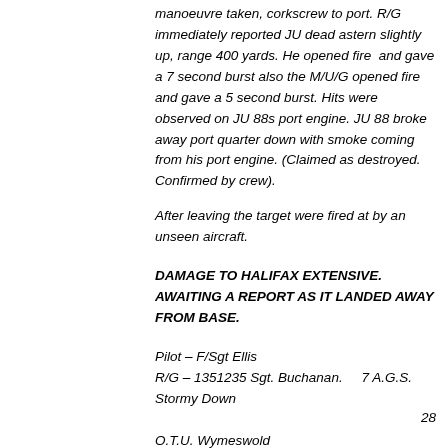manoeuvre taken, corkscrew to port. R/G immediately reported JU dead astern slightly up, range 400 yards. He opened fire  and gave a 7 second burst also the M/U/G opened fire and gave a 5 second burst. Hits were observed on JU 88s port engine. JU 88 broke away port quarter down with smoke coming from his port engine. (Claimed as destroyed. Confirmed by crew).
After leaving the target were fired at by an unseen aircraft.
DAMAGE TO HALIFAX EXTENSIVE. AWAITING A REPORT AS IT LANDED AWAY FROM BASE.
Pilot – F/Sgt Ellis
R/G – 1351235 Sgt. Buchanan.    7 A.G.S.  Stormy Down
28
O.T.U. Wymeswold
1658
C.U. Riccall
M/U/G/ - 1452582 Sgt. Williams.   7 A.G.S. Stormy Down
28